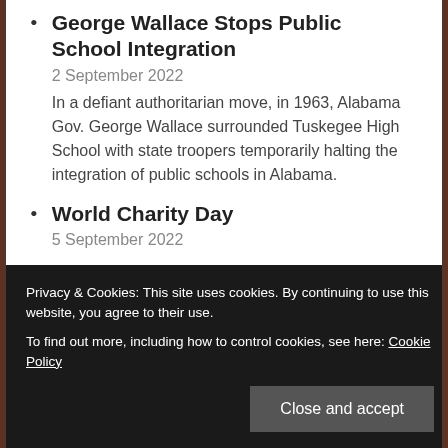George Wallace Stops Public School Integration
2 September 2022
In a defiant authoritarian move, in 1963, Alabama Gov. George Wallace surrounded Tuskegee High School with state troopers temporarily halting the integration of public schools in Alabama.
World Charity Day
5 September 2022
Peggy Noonan birthday
Privacy & Cookies: This site uses cookies. By continuing to use this website, you agree to their use.
To find out more, including how to control cookies, see here: Cookie Policy